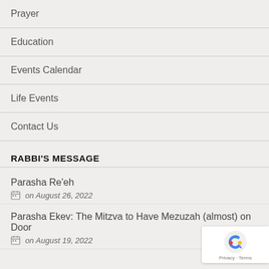Prayer
Education
Events Calendar
Life Events
Contact Us
RABBI'S MESSAGE
Parasha Re'eh
on August 26, 2022
Parasha Ekev: The Mitzva to Have Mezuzah (almost) on Door
on August 19, 2022